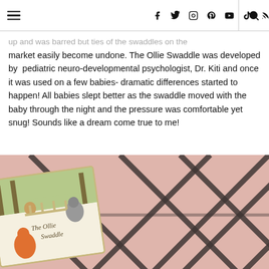[hamburger menu] [social icons: facebook, twitter, instagram, pinterest, youtube, tiktok, rss] [search]
up and was barred but ties of the swaddles on the market easily become undone. The Ollie Swaddle was developed by  pediatric neuro-developmental psychologist, Dr. Kiti and once it was used on a few babies- dramatic differences started to happen! All babies slept better as the swaddle moved with the baby through the night and the pressure was comfortable yet snug! Sounds like a dream come true to me!
[Figure (photo): Photo of 'The Ollie Swaddle' book placed on a pink fluffy rug with black diamond/cross pattern]